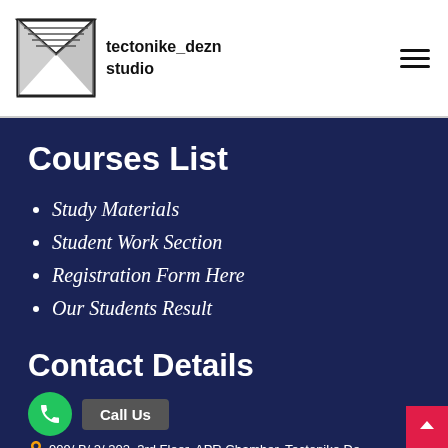[Figure (logo): Tectonike Dezn Studio logo with geometric envelope/diamond icon and text 'tectonike_dezn studio']
tectonike_dezn studio
Courses List
Study Materials
Student Work Section
Registration Form Here
Our Students Result
Contact Details
Call Us
909/ B/ 2/ 302, 3rd Floor, APR Chamber, Tectonike De...